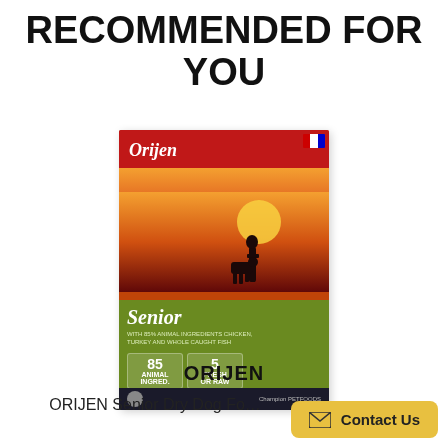RECOMMENDED FOR YOU
[Figure (photo): Product image of Orijen Senior Dry Dog Food bag/box. The box features a red banner with the Orijen logo at the top, a sunset landscape with silhouette scene in the middle, and an olive/green lower section labeled 'Senior' with badges showing '85% Animal Ingredients' and '5 Fresh or Raw'.]
ORIJEN
ORIJEN Senior Dry Dog Fo…